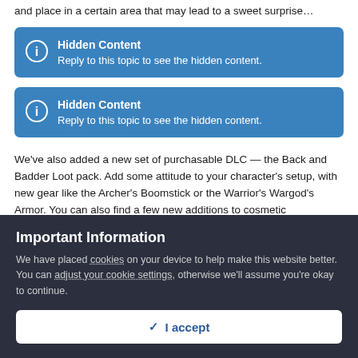and place in a certain area that may lead to a sweet surprise…
Hidden Content
Reply to this topic to see the hidden content.
Hidden Content
Reply to this topic to see the hidden content.
We've also added a new set of purchasable DLC — the Back and Badder Loot pack. Add some attitude to your character's setup, with new gear like the Archer's Boomstick or the Warrior's Wargod's Armor. You can also find a few new additions to cosmetic customization
Important Information
We have placed cookies on your device to help make this website better. You can adjust your cookie settings, otherwise we'll assume you're okay to continue.
✓  I accept